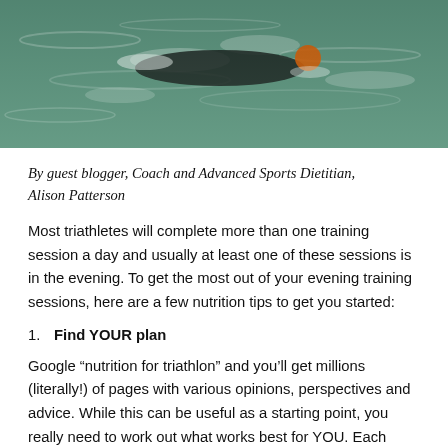[Figure (photo): Aerial/overhead view of a triathlete swimmer in a wetsuit and orange swim cap swimming in open water (green-blue ocean/lake). The swimmer is in the center of the frame with white foam and water ripples visible.]
By guest blogger, Coach and Advanced Sports Dietitian, Alison Patterson
Most triathletes will complete more than one training session a day and usually at least one of these sessions is in the evening. To get the most out of your evening training sessions, here are a few nutrition tips to get you started:
1. Find YOUR plan
Google “nutrition for triathlon” and you’ll get millions (literally!) of pages with various opinions, perspectives and advice. While this can be useful as a starting point, you really need to work out what works best for YOU. Each